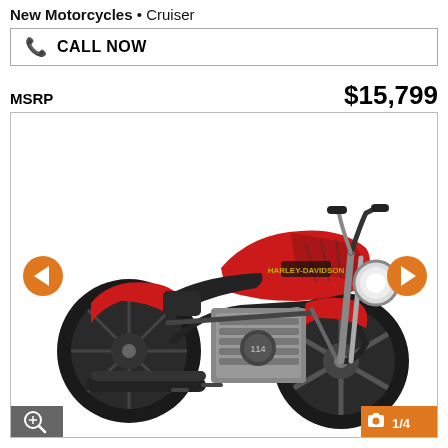New Motorcycles • Cruiser
CALL NOW
MSRP $15,799
[Figure (photo): Red and black Harley-Davidson cruiser motorcycle shown from the right side profile, with navigation arrows on left and right, zoom button at bottom left, and photo count badge '1/4' at bottom right.]